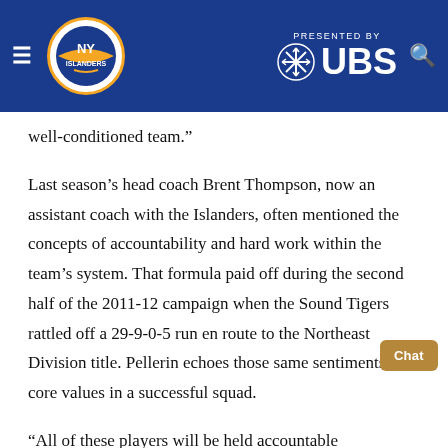NY Islanders — PRESENTED BY UBS
well-conditioned team.”
Last season’s head coach Brent Thompson, now an assistant coach with the Islanders, often mentioned the concepts of accountability and hard work within the team’s system. That formula paid off during the second half of the 2011-12 campaign when the Sound Tigers rattled off a 29-9-0-5 run en route to the Northeast Division title. Pellerin echoes those same sentiments as core values in a successful squad.
“All of these players will be held accountable on ice,” Pellerin said. “They have to work hard and nothing is given to them. That’s the message I will give to our guys